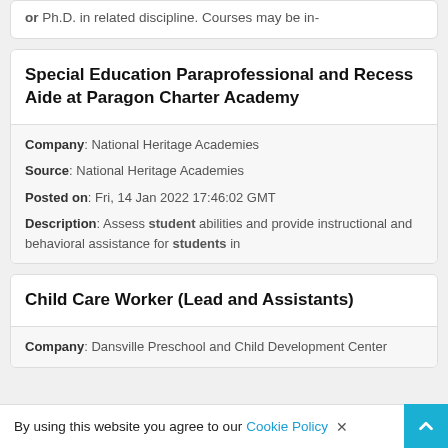or Ph.D. in related discipline. Courses may be in-
Special Education Paraprofessional and Recess Aide at Paragon Charter Academy
Company: National Heritage Academies
Source: National Heritage Academies
Posted on: Fri, 14 Jan 2022 17:46:02 GMT
Description: Assess student abilities and provide instructional and behavioral assistance for students in
Child Care Worker (Lead and Assistants)
Company: Dansville Preschool and Child Development Center
By using this website you agree to our Cookie Policy ×